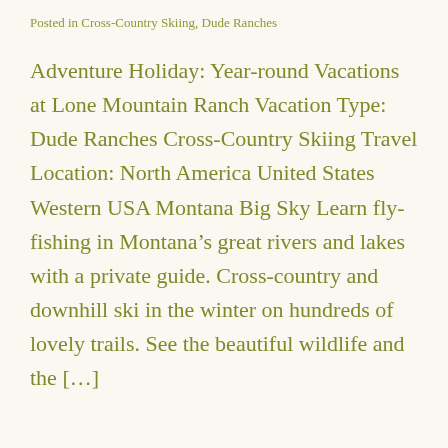Posted in Cross-Country Skiing, Dude Ranches
Adventure Holiday: Year-round Vacations at Lone Mountain Ranch Vacation Type: Dude Ranches Cross-Country Skiing Travel Location: North America United States Western USA Montana Big Sky Learn fly-fishing in Montana’s great rivers and lakes with a private guide. Cross-country and downhill ski in the winter on hundreds of lovely trails. See the beautiful wildlife and the […]